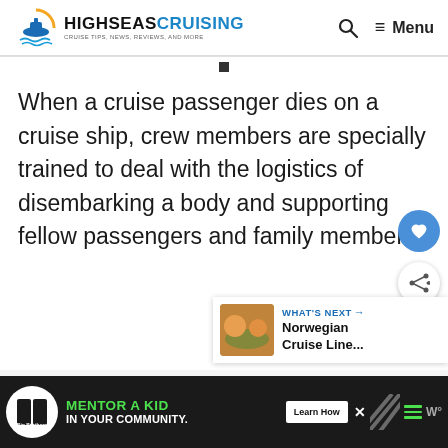HIGH SEAS CRUISING — CRUISE TIPS, NEWS, REVIEWS, AND MORE | Search | Menu
When a cruise passenger dies on a cruise ship, crew members are specially trained to deal with the logistics of disembarking a body and supporting fellow passengers and family members.
[Figure (screenshot): WHAT'S NEXT arrow — Norwegian Cruise Line... thumbnail with orange/beach image]
[Figure (infographic): Bottom advertisement bar: Big Brothers Big Sisters logo, MENTOR A KID IN YOUR COMMUNITY. Learn How button, close X, diagonal pattern, hamburger menu, W° icon]